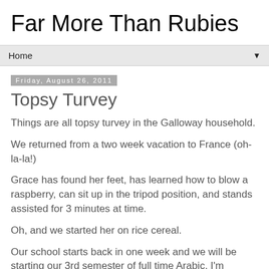Far More Than Rubies
Home
Friday, August 26, 2011
Topsy Turvey
Things are all topsy turvey in the Galloway household.
We returned from a two week vacation to France (oh-la-la!)
Grace has found her feet, has learned how to blow a raspberry, can sit up in the tripod position, and stands assisted for 3 minutes at time.
Oh, and we started her on rice cereal.
Our school starts back in one week and we will be starting our 3rd semester of full time Arabic. I'm excited for the